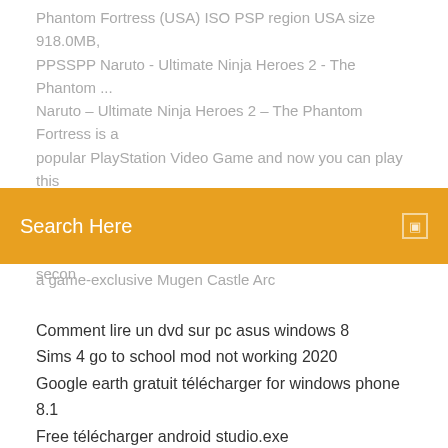Phantom Fortress (USA) ISO PSP region USA size 918.0MB, PPSSPP Naruto - Ultimate Ninja Heroes 2 - The Phantom ... Naruto – Ultimate Ninja Heroes 2 – The Phantom Fortress is a popular PlayStation Video Game and now you can play this game on android using ppsspp android emulator. Naruto: Ultimate Ninja Heroes 2: The Phantom Fortress is the secon
Search Here
a game-exclusive Mugen Castle Arc
Comment lire un dvd sur pc asus windows 8
Sims 4 go to school mod not working 2020
Google earth gratuit télécharger for windows phone 8.1
Free télécharger android studio.exe
Enregistrement audio windows 10
Telecharger internet explorer pour windows xp edition familiale
Street fighter v pc gratis